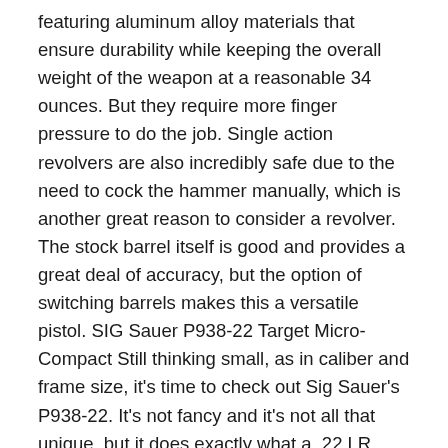featuring aluminum alloy materials that ensure durability while keeping the overall weight of the weapon at a reasonable 34 ounces. But they require more finger pressure to do the job. Single action revolvers are also incredibly safe due to the need to cock the hammer manually, which is another great reason to consider a revolver. The stock barrel itself is good and provides a great deal of accuracy, but the option of switching barrels makes this a versatile pistol. SIG Sauer P938-22 Target Micro-Compact Still thinking small, as in caliber and frame size, it's time to check out Sig Sauer's P938-22. It's not fancy and it's not all that unique, but it does exactly what a .22 LR pistol should: be consistent, easy to shoot, and versatile for self-defense or general shooting needs. Next, think about the overall size and weight of a handgun before you buy it. It also features replaceable grips